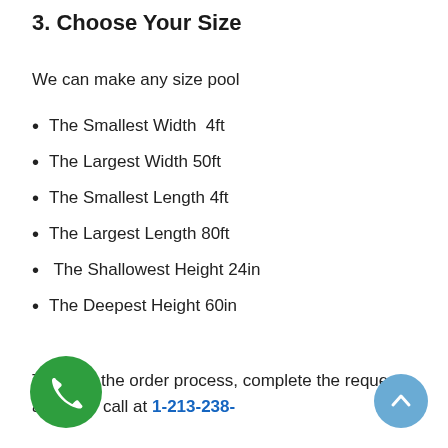3. Choose Your Size
We can make any size pool
The Smallest Width  4ft
The Largest Width 50ft
The Smallest Length 4ft
The Largest Length 80ft
The Shallowest Height 24in
The Deepest Height 60in
To begin the order process, complete the request above or call at 1-213-238-